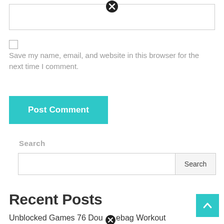[Figure (screenshot): Text input field with close/error icon at top center]
Save my name, email, and website in this browser for the next time I comment.
[Figure (other): Post Comment button in teal/cyan color]
Search
[Figure (screenshot): Search input field with Search button]
Recent Posts
Unblocked Games 76 Douchebag Workout